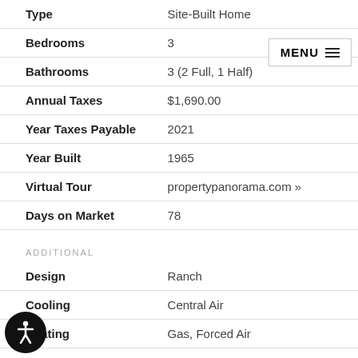| Field | Value |
| --- | --- |
| Type | Site-Built Home |
| Bedrooms | 3 |
| Bathrooms | 3 (2 Full, 1 Half) |
| Annual Taxes | $1,690.00 |
| Year Taxes Payable | 2021 |
| Year Built | 1965 |
| Virtual Tour | propertypanorama.com » |
| Days on Market | 78 |
ADDITIONAL
| Field | Value |
| --- | --- |
| Design | Ranch |
| Cooling | Central Air |
| Heating | Gas, Forced Air |
| Fireplace | Yes |
| Garage | Attached |
| Hardwood Floors | Yes |